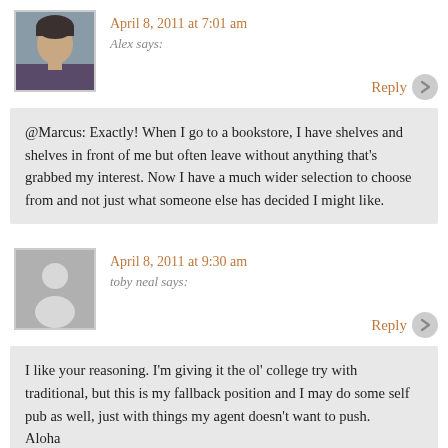April 8, 2011 at 7:01 am
Alex says:
Reply
@Marcus: Exactly! When I go to a bookstore, I have shelves and shelves in front of me but often leave without anything that’s grabbed my interest. Now I have a much wider selection to choose from and not just what someone else has decided I might like.
April 8, 2011 at 9:30 am
toby neal says:
Reply
I like your reasoning. I’m giving it the ol’ college try with traditional, but this is my fallback position and I may do some self pub as well, just with things my agent doesn’t want to push.
Aloha
Toby
http://...tobyneal.net/